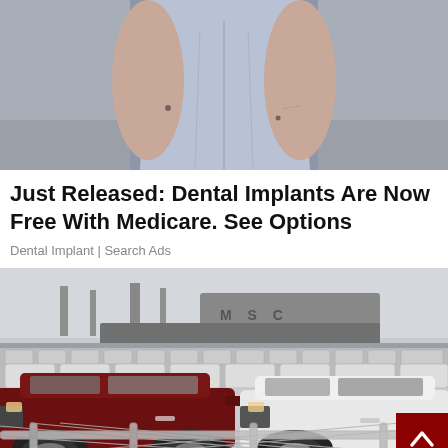[Figure (photo): Cropped photo of a woman in a light blue/grey fitted top, visible from waist up, standing outdoors with concrete background]
Just Released: Dental Implants Are Now Free With Medicare. See Options
Dental Implant | Search Ads
[Figure (photo): Large parking lot or shipping port filled with rows of white Toyota FJ Cruiser SUVs, with a dark red/maroon Toyota FJ Cruiser in the foreground, chain-link fence at bottom, and MSC cargo ship in the background]